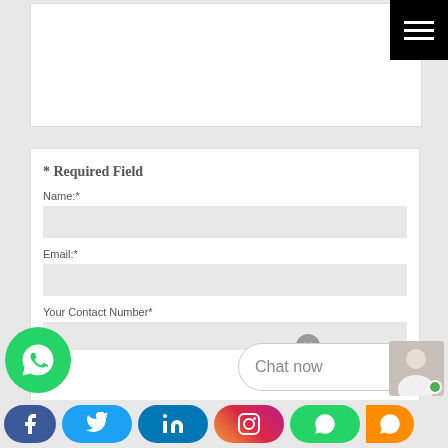[Figure (screenshot): Hamburger menu icon (three white lines) on black background, top-right corner]
* Required Field
Name:*
Email:*
Your Contact Number*
[Figure (infographic): Social media share bar with Facebook, Twitter, LinkedIn, Instagram, WhatsApp buttons; WhatsApp floating button bottom-left; Chat now bubble with avatar bottom-right]